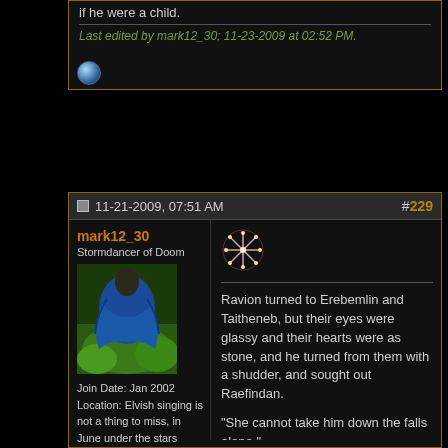if he were a child.
Last edited by mark12_30; 11-23-2009 at 02:52 PM.
[Figure (other): Blue orb / sphere icon]
11-21-2009, 07:51 AM
#229
mark12_30
Stormdancer of Doom
[Figure (photo): Avatar photo of a person in blue costume outdoors]
Join Date: Jan 2002
Location: Elvish singing is not a thing to miss, in June under the stars
Posts: 4,402
[Figure (other): Snowflake decorative icon in post header]
Ravion turned to Erebemlin and Taitheneb, but their eyes were glassy and their hearts were as stone, and he turned from them with a shudder, and sought out Raefindan.

"She cannot take him down the falls alone."

Raefindan nodded. "I know this." Yet he too was steeped in grief.

Mithrellas came forward, and strode to Nimrodel. "I shall aid you."

Now Indil stepped forward. "As will I, lady. You are young